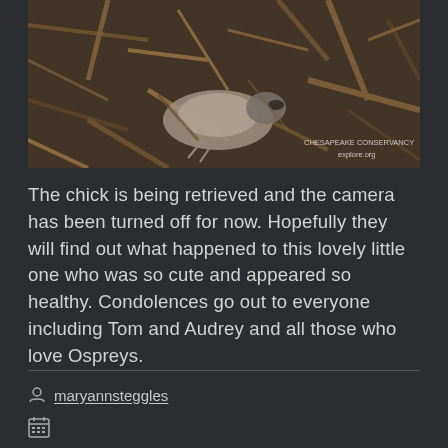[Figure (photo): A dead osprey chick lying in a nest made of sticks and debris. Wildlife camera image with watermark 'CHESAPEAKE CONSERVANCY explore.org' visible in bottom right corner.]
The chick is being retrieved and the camera has been turned off for now. Hopefully they will find out what happened to this lovely little one who was so cute and appeared so healthy. Condolences go out to everyone including Tom and Audrey and all those who love Ospreys.
maryannsteggles